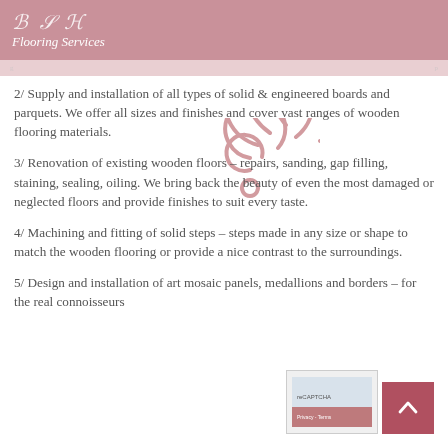BSA Flooring Services
2/ Supply and installation of all types of solid & engineered boards and parquets. We offer all sizes and finishes and cover vast ranges of wooden flooring materials.
3/ Renovation of existing wooden floors – repairs, sanding, gap filling, staining, sealing, oiling. We bring back the beauty of even the most damaged or neglected floors and provide finishes to suit every taste.
4/ Machining and fitting of solid steps – steps made in any size or shape to match the wooden flooring or provide a nice contrast to the surroundings.
5/ Design and installation of art mosaic panels, medallions and borders – for the real connoisseurs